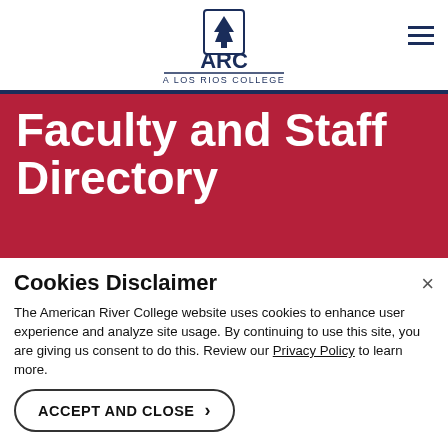[Figure (logo): ARC - A Los Rios College logo with tree icon and text]
Faculty and Staff Directory
Cookies Disclaimer
The American River College website uses cookies to enhance user experience and analyze site usage. By continuing to use this site, you are giving us consent to do this. Review our Privacy Policy to learn more.
ACCEPT AND CLOSE
Name
Location